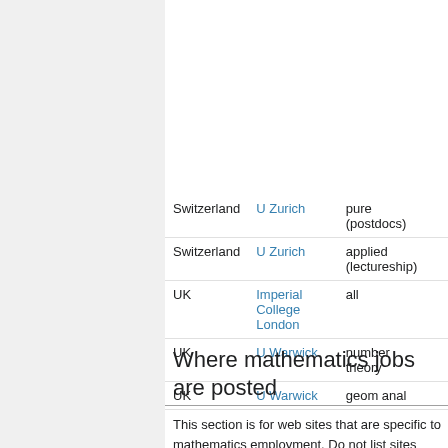| Country | Institution | Area |  |
| --- | --- | --- | --- |
| Switzerland | U Zurich | pure (postdocs) |  |
| Switzerland | U Zurich | applied (lectureship) |  |
| UK | Imperial College London | all |  |
| UK | U Warwick | number theory |  |
| UK | U Warwick | geom anal |  |
Where mathematics jobs are posted
This section is for web sites that are specific to mathematics employment. Do not list sites